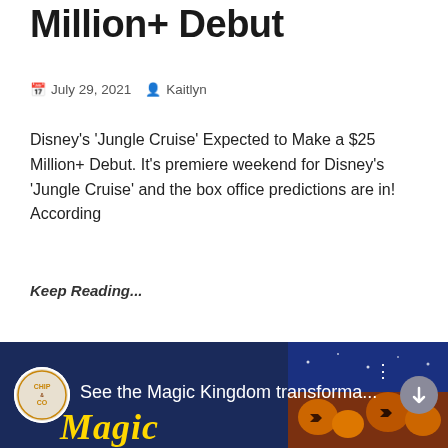Million+ Debut
July 29, 2021  Kaitlyn
Disney's 'Jungle Cruise' Expected to Make a $25 Million+ Debut. It's premiere weekend for Disney's 'Jungle Cruise' and the box office predictions are in! According
Keep Reading...
[Figure (other): Pagination controls showing pages 1 (active/highlighted), 2, ..., 4, Next]
[Figure (screenshot): Bottom banner showing Chip and Co logo with text 'See the Magic Kingdom transforma...' over a festive Halloween-themed Magic Kingdom background with pumpkins]